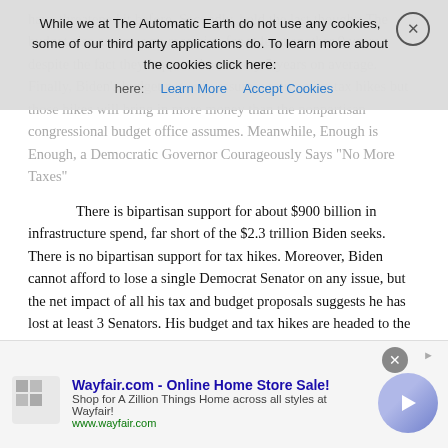have threatened it before. Secondly, hold the last thought: The budget also assumes no recession for at least another 9 years despite the fact they happen about every 5 years on average. Finally, Biden's budget not only assumes retroactive tax hikes but those hikes will bring in more money than the nonpartisan congressional budget office assumes. Meanwhile, Enough is Enough, a Democratic Governor Courageously Says "No More Taxes"
There is bipartisan support for about $900 billion in infrastructure spend, far short of the $2.3 trillion Biden seeks. There is no bipartisan support for tax hikes. Moreover, Biden cannot afford to lose a single Democrat Senator on any issue, but the net impact of all his tax and budget proposals suggests he has lost at least 3 Senators. His budget and tax hikes are headed to the gutter. Beyond infrastructure, it's unclear if Biden can pass anything.
Read more …
[Figure (screenshot): Cookie consent banner overlay: 'While we at The Automatic Earth do not use any cookies, some of our third party applications do. To learn more about the cookies click here: [Learn More] [Accept Cookies]' with a close (X) button.]
[Figure (screenshot): Advertisement banner at bottom: Wayfair.com - Online Home Store Sale! Shop for A Zillion Things Home across all styles at Wayfair! www.wayfair.com with a purple arrow button and close button.]